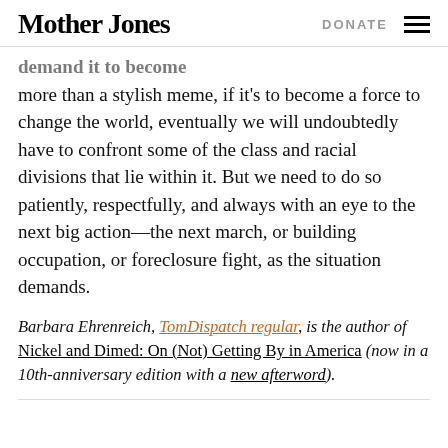Mother Jones | DONATE
…demand it to become more than a stylish meme, if it's to become a force to change the world, eventually we will undoubtedly have to confront some of the class and racial divisions that lie within it. But we need to do so patiently, respectfully, and always with an eye to the next big action—the next march, or building occupation, or foreclosure fight, as the situation demands.
Barbara Ehrenreich, TomDispatch regular, is the author of Nickel and Dimed: On (Not) Getting By in America (now in a 10th-anniversary edition with a new afterword).